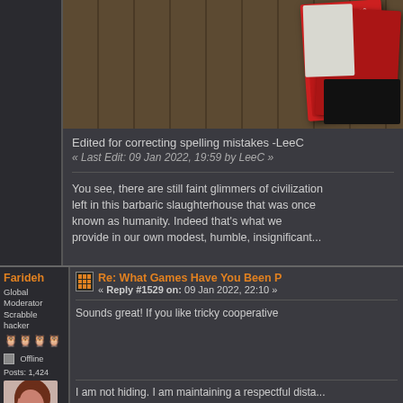[Figure (photo): Photo of board game cards (red box labeled ENCOUNTERS) on a wooden surface]
Edited for correcting spelling mistakes -LeeC
« Last Edit: 09 Jan 2022, 19:59 by LeeC »
You see, there are still faint glimmers of civilization left in this barbaric slaughterhouse that was once known as humanity. Indeed that's what we provide in our own modest, humble, insignificant...
Farideh
Global Moderator
Scrabble hacker
Offline
Posts: 1,424
[Figure (illustration): Avatar of Farideh - animated style portrait of a woman with short brown hair in profile]
Re: What Games Have You Been P
« Reply #1529 on: 09 Jan 2022, 22:10 »
Sounds great! If you like tricky cooperative
I am not hiding. I am maintaining a respectful dista...